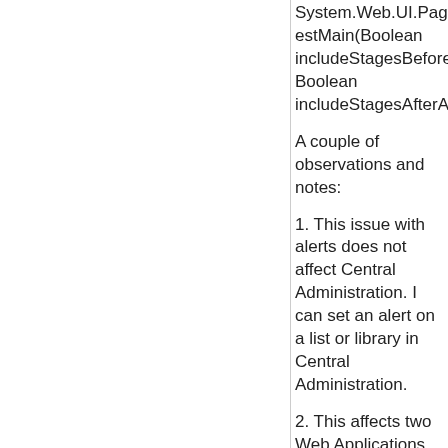System.Web.UI.Page.ProcessRequestMain(Boolean includeStagesBeforeAsyncPoint, Boolean includeStagesAfterAsyncPoint)
A couple of observations and notes:
1. This issue with alerts does not affect Central Administration.  I can set an alert on a list or library in Central Administration.
2. This affects two Web Applications, which are user facing.  One is the intranet site, the other a training site.
3. I attempted to correct this error by recreating the Web Applications.  Nothing changed.  Alerts were still hosed.
4. My last troubleshooting step will